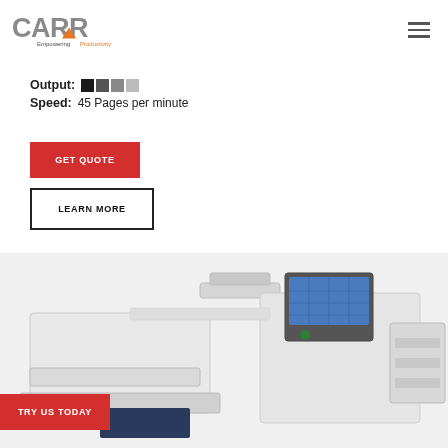[Figure (logo): CARR logo with orange triangle accent and tagline 'Empowering Productivity']
Output: [color swatches: black, dark gray, gray, light gray]
Speed: 45 Pages per minute
GET QUOTE
LEARN MORE
[Figure (photo): Large office printer/copier machine photographed from the front-right angle, showing paper trays and control panel with blue screen]
TRY US TODAY